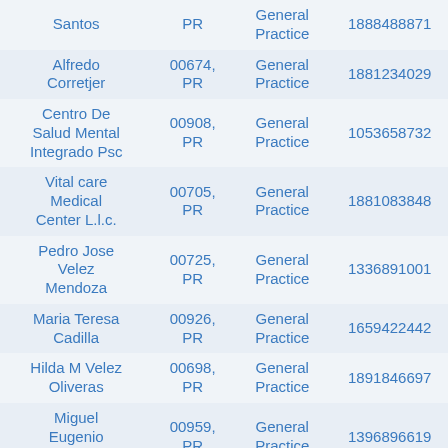| Name | ZIP, State | Specialty | NPI |
| --- | --- | --- | --- |
| Santos | PR | General Practice | 1888488871 |
| Alfredo Corretjer | 00674, PR | General Practice | 1881234029 |
| Centro De Salud Mental Integrado Psc | 00908, PR | General Practice | 1053658732 |
| Vital care Medical Center L.l.c. | 00705, PR | General Practice | 1881083848 |
| Pedro Jose Velez Mendoza | 00725, PR | General Practice | 1336891001 |
| Maria Teresa Cadilla | 00926, PR | General Practice | 1659422442 |
| Hilda M Velez Oliveras | 00698, PR | General Practice | 1891846697 |
| Miguel Eugenio Martin | 00959, PR | General Practice | 1396896619 |
| Clyde Henry Fasick | 00907, PR | General Practice | 1851442669 |